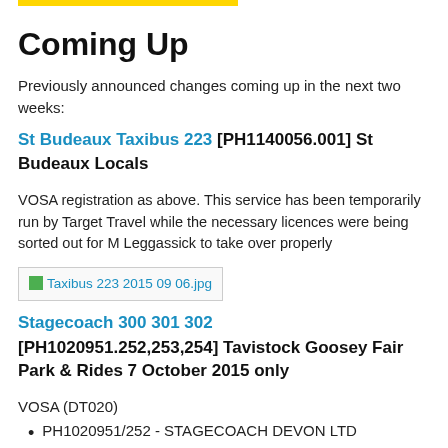Coming Up
Previously announced changes coming up in the next two weeks:
St Budeaux Taxibus 223 [PH1140056.001] St Budeaux Locals
VOSA registration as above. This service has been temporarily run by Target Travel while the necessary licences were being sorted out for M Leggassick to take over properly
[Figure (photo): Image placeholder link: Taxibus 223 2015 09 06.jpg]
Stagecoach 300 301 302 [PH1020951.252,253,254] Tavistock Goosey Fair Park & Rides 7 October 2015 only
VOSA (DT020)
PH1020951/252 - STAGECOACH DEVON LTD